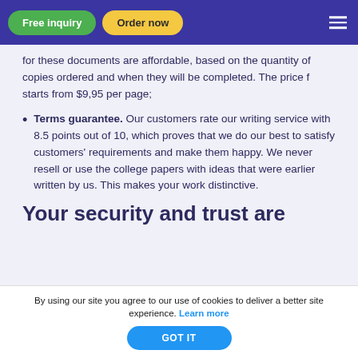Free inquiry | Order now
for these documents are affordable, based on the quantity of copies ordered and when they will be completed. The price f starts from $9,95 per page;
Terms guarantee. Our customers rate our writing service with 8.5 points out of 10, which proves that we do our best to satisfy customers' requirements and make them happy. We never resell or use the college papers with ideas that were earlier written by us. This makes your work distinctive.
Your security and trust are
By using our site you agree to our use of cookies to deliver a better site experience. Learn more
GOT IT